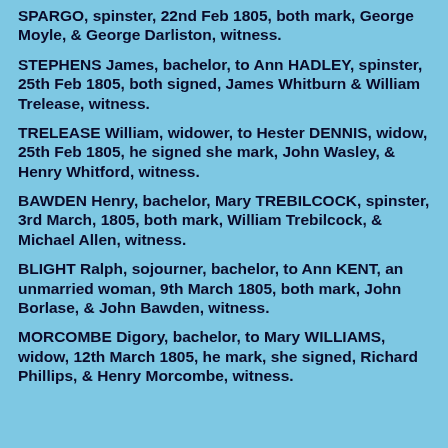SPARGO, spinster, 22nd Feb 1805, both mark, George Moyle, & George Darliston, witness.
STEPHENS James, bachelor, to Ann HADLEY, spinster, 25th Feb 1805, both signed, James Whitburn & William Trelease, witness.
TRELEASE William, widower, to Hester DENNIS, widow, 25th Feb 1805, he signed she mark, John Wasley, & Henry Whitford, witness.
BAWDEN Henry, bachelor, Mary TREBILCOCK, spinster, 3rd March, 1805, both mark, William Trebilcock, & Michael Allen, witness.
BLIGHT Ralph, sojourner, bachelor, to Ann KENT, an unmarried woman, 9th March 1805, both mark, John Borlase, & John Bawden, witness.
MORCOMBE Digory, bachelor, to Mary WILLIAMS, widow, 12th March 1805, he mark, she signed, Richard Phillips, & Henry Morcombe, witness.